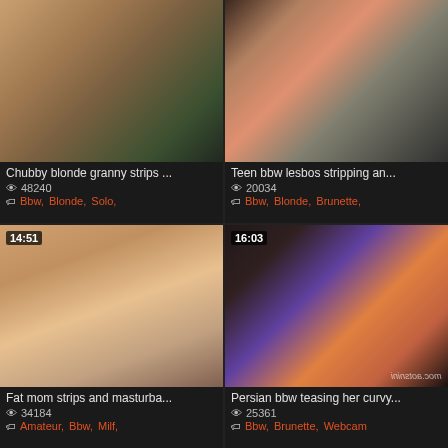[Figure (screenshot): Video thumbnail top-left: chubby blonde woman, dark background]
Chubby blonde granny strips ...
👁 48240
Bbw, Blonde, Solo,
[Figure (screenshot): Video thumbnail top-right: BBW woman on exercise ball, red bikini]
Teen bbw lesbos stripping an...
👁 20034
Bbw, Blonde, Brunette,
[Figure (screenshot): Video thumbnail bottom-left: brunette woman, duration 14:51]
Fat mom strips and masturba...
👁 34184
Amateur, Bbw, Milf,
[Figure (screenshot): Video thumbnail bottom-right: dark-haired woman in colorful bra, duration 16:03]
Persian bbw teasing her curvy...
👁 25361
Bbw, Brunette, Webcam